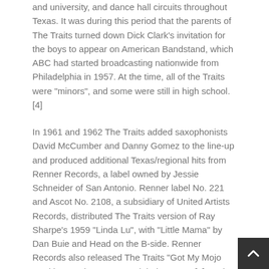and university, and dance hall circuits throughout Texas. It was during this period that the parents of The Traits turned down Dick Clark's invitation for the boys to appear on American Bandstand, which ABC had started broadcasting nationwide from Philadelphia in 1957. At the time, all of the Traits were "minors", and some were still in high school.[4]
In 1961 and 1962 The Traits added saxophonists David McCumber and Danny Gomez to the line-up and produced additional Texas/regional hits from Renner Records, a label owned by Jessie Schneider of San Antonio. Renner label No. 221 and Ascot No. 2108, a subsidiary of United Artists Records, distributed The Traits version of Ray Sharpe's 1959 "Linda Lu", with "Little Mama" by Dan Buie and Head on the B-side. Renner Records also released The Traits "Got My Mojo Working" and "Wo Wo" on label No. 229.[5] By the time the 1962 recordings were taped and mastered at Jeff Smith's Texas Sound Studio in San Antonio for the Renner label, Johnny Clark and Frank Miller had replaced Frazier and Bolton at lead and rhythm guitars, respectively.